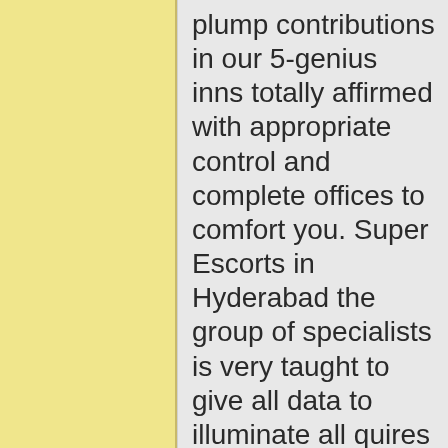plump contributions in our 5-genius inns totally affirmed with appropriate control and complete offices to comfort you. Super Escorts in Hyderabad the group of specialists is very taught to give all data to illuminate all quires in a careful and right manner. in the event that you have any issue concerning intercourse or intimatingOur pleasantly qualifies and experienced authorities are here to raise your strains and hell loosened. our puzzle fun is anxiously holding up as an approach to have a serene